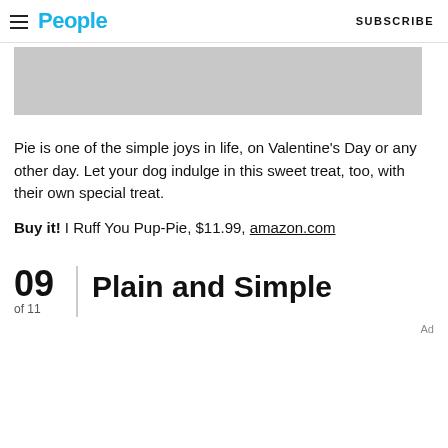People | SUBSCRIBE
[Figure (photo): Gray placeholder image area at top of article]
Pie is one of the simple joys in life, on Valentine's Day or any other day. Let your dog indulge in this sweet treat, too, with their own special treat.
Buy it! I Ruff You Pup-Pie, $11.99, amazon.com
09 of 11 | Plain and Simple